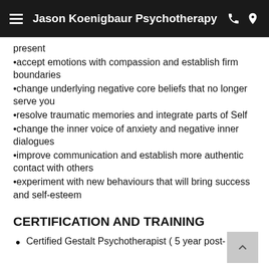Jason Koenigbaur Psychotherapy
present
•accept emotions with compassion and establish firm boundaries
•change underlying negative core beliefs that no longer serve you
•resolve traumatic memories and integrate parts of Self
•change the inner voice of anxiety and negative inner dialogues
•improve communication and establish more authentic contact with others
•experiment with new behaviours that will bring success and self-esteem
CERTIFICATION AND TRAINING
Certified Gestalt Psychotherapist ( 5 year post-